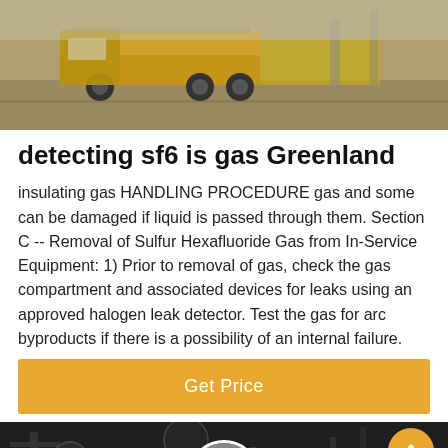[Figure (photo): Outdoor industrial/transport scene with yellow equipment visible on what appears to be a road or tarmac surface]
detecting sf6 is gas Greenland
insulating gas HANDLING PROCEDURE gas and some can be damaged if liquid is passed through them. Section C -- Removal of Sulfur Hexafluoride Gas from In-Service Equipment: 1) Prior to removal of gas, check the gas compartment and associated devices for leaks using an approved halogen leak detector. Test the gas for arc byproducts if there is a possibility of an internal failure.
Get Price
[Figure (photo): Dark industrial equipment scene with cranes and infrastructure; customer service representative avatar circle overlay in center; orange scroll-to-top button top right; Leave Message and Chat Online footer bar]
Leave Message
Chat Online